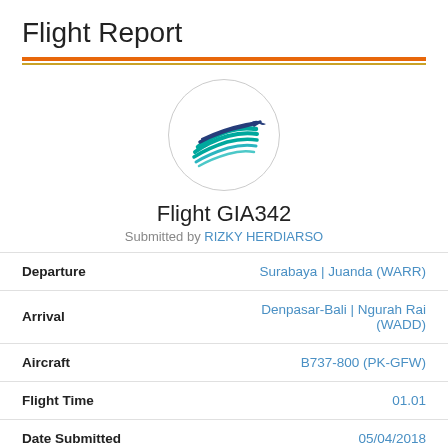Flight Report
[Figure (logo): Garuda Indonesia airline logo — stylized bird/eagle in blue and teal colors inside a circular border]
Flight GIA342
Submitted by RIZKY HERDIARSO
| Field | Value |
| --- | --- |
| Departure | Surabaya | Juanda (WARR) |
| Arrival | Denpasar-Bali | Ngurah Rai (WADD) |
| Aircraft | B737-800 (PK-GFW) |
| Flight Time | 01.01 |
| Date Submitted | 05/04/2018 |